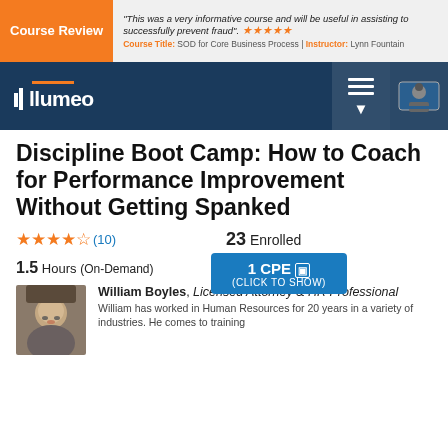[Figure (infographic): Course Review banner with orange label, italic quote text, orange star rating (5 stars), and course/instructor info below]
[Figure (logo): Illumeo navigation bar with dark blue background, orange-bar logo, hamburger menu icon, and profile/envelope icon]
Discipline Boot Camp: How to Coach for Performance Improvement Without Getting Spanked
★★★★☆ (10)   23 Enrolled   1.5 Hours (On-Demand)   1 CPE (CLICK TO SHOW)
William Boyles, Licensed Attorney & HR Professional
William has worked in Human Resources for 20 years in a variety of industries. He comes to training...